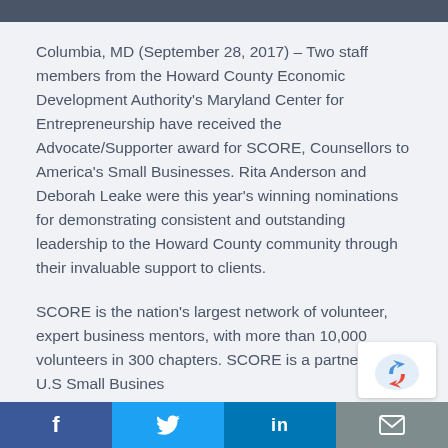Columbia, MD (September 28, 2017) – Two staff members from the Howard County Economic Development Authority's Maryland Center for Entrepreneurship have received the Advocate/Supporter award for SCORE, Counsellors to America's Small Businesses. Rita Anderson and Deborah Leake were this year's winning nominations for demonstrating consistent and outstanding leadership to the Howard County community through their invaluable support to clients.
SCORE is the nation's largest network of volunteer, expert business mentors, with more than 10,000 volunteers in 300 chapters. SCORE is a partner of the U.S Small Business Administration (SBA) and has assisted more than 10...
f  t  in  mail